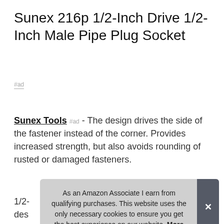Sunex 216p 1/2-Inch Drive 1/2-Inch Male Pipe Plug Socket
#ad
Sunex Tools #ad - The design drives the side of the fastener instead of the corner. Provides increased strength, but also avoids rounding of rusted or damaged fasteners.
More information #ad
1/2- des chr and
As an Amazon Associate I earn from qualifying purchases. This website uses the only necessary cookies to ensure you get the best experience on our website. More information